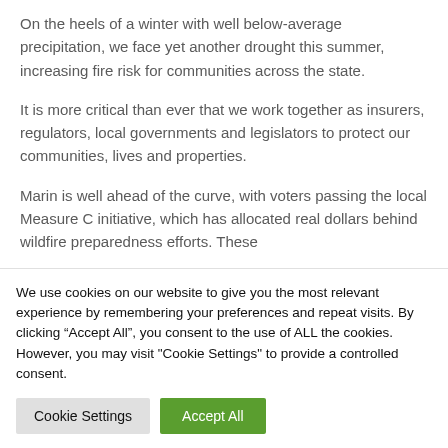On the heels of a winter with well below-average precipitation, we face yet another drought this summer, increasing fire risk for communities across the state.
It is more critical than ever that we work together as insurers, regulators, local governments and legislators to protect our communities, lives and properties.
Marin is well ahead of the curve, with voters passing the local Measure C initiative, which has allocated real dollars behind wildfire preparedness efforts. These
We use cookies on our website to give you the most relevant experience by remembering your preferences and repeat visits. By clicking “Accept All”, you consent to the use of ALL the cookies. However, you may visit "Cookie Settings" to provide a controlled consent.
Cookie Settings | Accept All